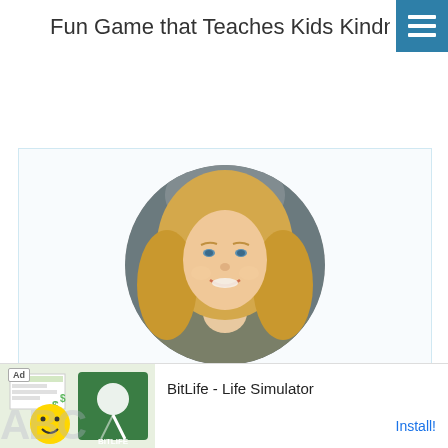Fun Game that Teaches Kids Kindnes…
[Figure (photo): Circular cropped professional headshot of a smiling blonde woman wearing a grey jacket, on a blurred dark background]
[Figure (infographic): Advertisement banner: Ad label, BitLife - Life Simulator app ad with emoji/logo graphics and Install! call-to-action link]